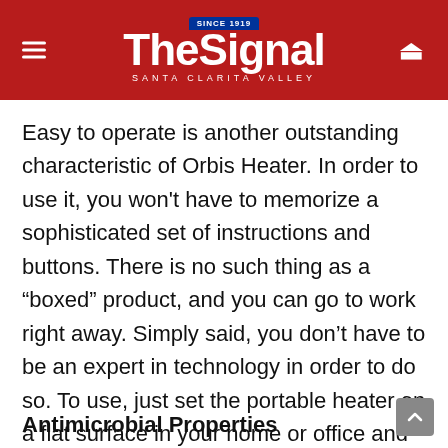The Signal — Santa Clarita Valley (Since 1919)
Easy to operate is another outstanding characteristic of Orbis Heater. In order to use it, you won't have to memorize a sophisticated set of instructions and buttons. There is no such thing as a “boxed” product, and you can go to work right away. Simply said, you don’t have to be an expert in technology in order to do so. To use, just set the portable heater on a flat surface in your home or office and plug it in. After this, you are ready to go and enjoy the warmth that it will bring you during the winter season.
Antimicrobial Properties